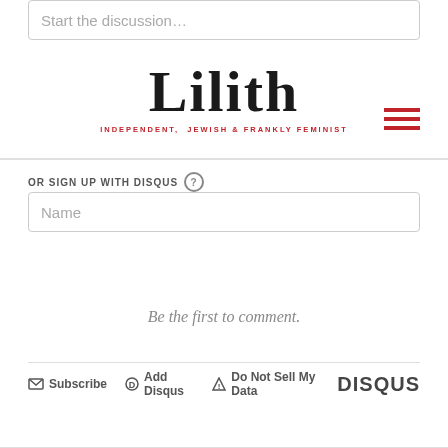Start the discussion…
[Figure (logo): Lilith magazine logo with tagline: INDEPENDENT, JEWISH & FRANKLY FEMINIST]
OR SIGN UP WITH DISQUS ?
Name
Be the first to comment.
Subscribe   Add Disqus   Do Not Sell My Data   DISQUS